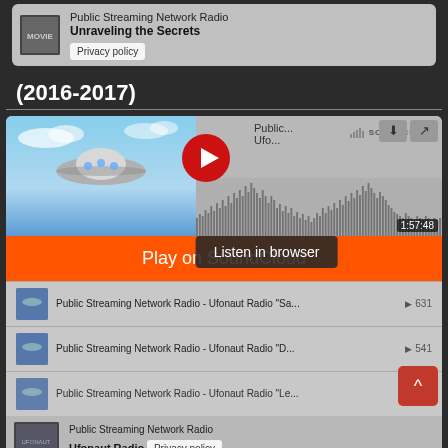[Figure (screenshot): Top SoundCloud widget card showing Public Streaming Network Radio - Unraveling the Secrets with Privacy policy button]
(2016-2017)
[Figure (screenshot): SoundCloud embedded player for Ufonaut Radio with play button, waveform, Play on SoundCloud bar, Listen in browser tooltip, and track list showing Public Streaming Network Radio tracks with play counts 631, 541, 640. Bottom card shows Public Streaming Network Radio - Ufonaut Radio with Privacy policy button.]
(2010-2013)